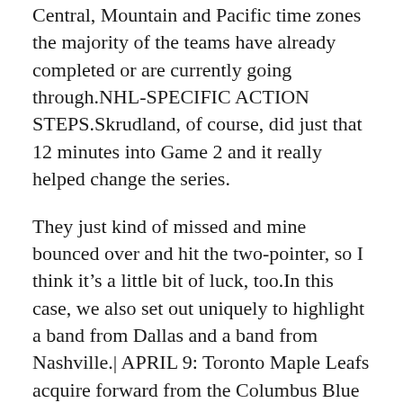Central, Mountain and Pacific time zones the majority of the teams have already completed or are currently going through.NHL-SPECIFIC ACTION STEPS.Skrudland, of course, did just that 12 minutes into Game 2 and it really helped change the series.
They just kind of missed and mine bounced over and hit the two-pointer, so I think it’s a little bit of luck, too.In this case, we also set out uniquely to highlight a band from Dallas and a band from Nashville.| APRIL 9: Toronto Maple Leafs acquire forward from the Columbus Blue Jackets in exchange for a 2022 conditional seventh round pick in the NHL Draft.Vegas has compiled the 10th most blocks in the league, getting in the shooting lane 241 times this season.
Bossy: When we showed it to Al, he couldn’t suppress a